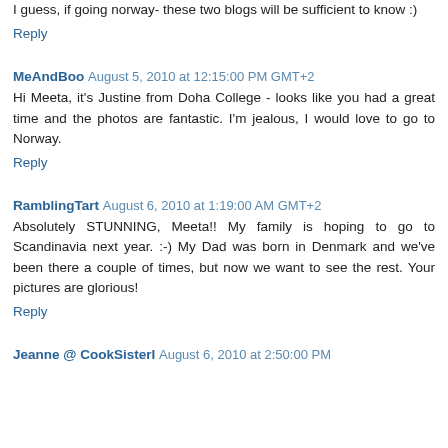I guess, if going norway- these two blogs will be sufficient to know :)
Reply
MeAndBoo  August 5, 2010 at 12:15:00 PM GMT+2
Hi Meeta, it's Justine from Doha College - looks like you had a great time and the photos are fantastic. I'm jealous, I would love to go to Norway.
Reply
RamblingTart  August 6, 2010 at 1:19:00 AM GMT+2
Absolutely STUNNING, Meeta!! My family is hoping to go to Scandinavia next year. :-) My Dad was born in Denmark and we've been there a couple of times, but now we want to see the rest. Your pictures are glorious!
Reply
Jeanne @ CookSisterI  August 6, 2010 at 2:50:00 PM